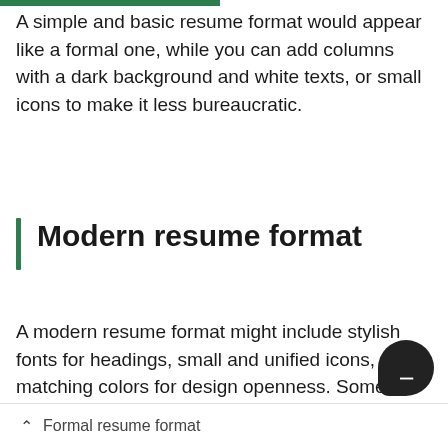A simple and basic resume format would appear like a formal one, while you can add columns with a dark background and white texts, or small icons to make it less bureaucratic.
Modern resume format
A modern resume format might include stylish fonts for headings, small and unified icons, and 2 matching colors for design openness. Some modern resumes use progress bars to express skill level, but it's somewhat subjec...
Formal resume format